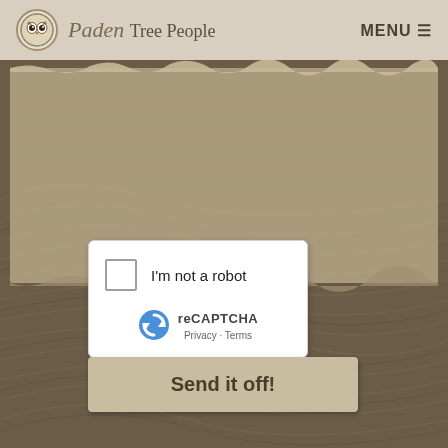Paden Tree People   MENU
[Figure (screenshot): Wood grain textured background in dark brown/tan tones with organic swirling patterns]
[Figure (screenshot): reCAPTCHA widget with checkbox labeled 'I'm not a robot', reCAPTCHA logo, and Privacy/Terms links]
Send it off!